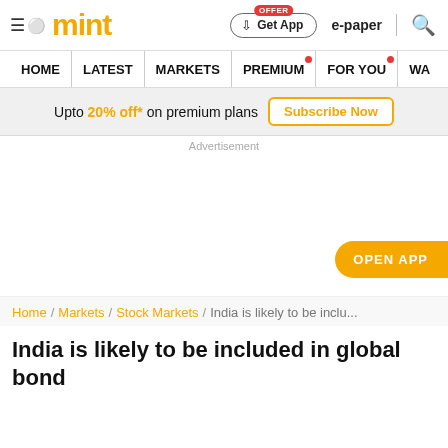mint — Home | Latest | Markets | Premium | For You
Upto 20% off* on premium plans Subscribe Now
Advertisement
[Figure (other): Open App button floating on right side]
Home / Markets / Stock Markets / India is likely to be inclu...
India is likely to be included in global bond